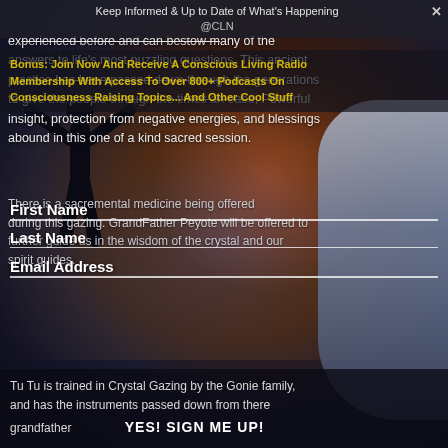Keep Informed & Up to Date of What's Happening @CLN
experienced before and can bestow many of the answers to life's most puzzling questions. This ancient practice has been passed down through the generations to give the people through the times an ease, Powerful insight, protection from negative energies, and blessings abound in this one of a kind sacred session.
Bonus: Join Now And Receive A Conscious Living Radio Membership With Access To Over 800+ Podcasts On Consciousness Raising Topics... And Other Cool Stuff
There is a sacremental medicine being offered during this gazing. GrandFather Peyote will be offered to further guide us in the wisdom of the crystal and our spirit guides.
First Name
Last Name
Email Address
Tu Tu is trained in Crystal Gazing by the Gonie family, and has the instruments passed down from there grandfather
YES! SIGN ME UP!